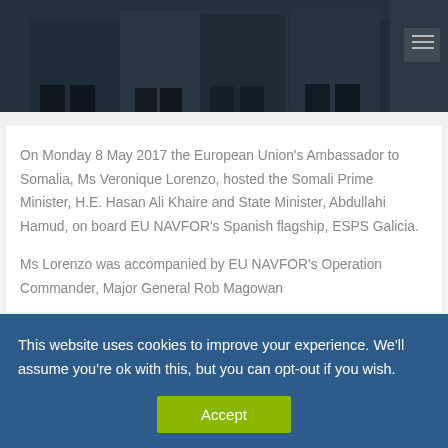[Figure (photo): Group of people in formal attire photographed from mid-body down, dark background]
On Monday 8 May 2017 the European Union's Ambassador to Somalia, Ms Veronique Lorenzo, hosted the Somali Prime Minister, H.E. Hasan Ali Khaire and State Minister, Abdullahi Hamud, on board EU NAVFOR's Spanish flagship, ESPS Galicia.
Ms Lorenzo was accompanied by EU NAVFOR's Operation Commander, Major General Rob Magowan
This website uses cookies to improve your experience. We'll assume you're ok with this, but you can opt-out if you wish.
Accept